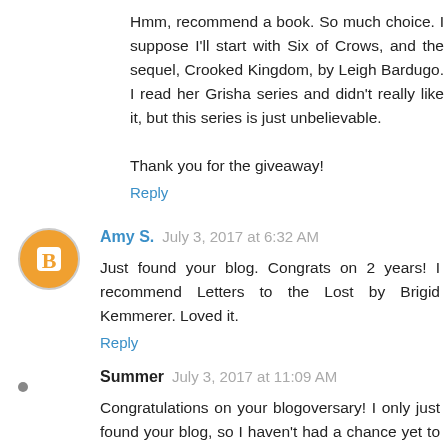Hmm, recommend a book. So much choice. I suppose I'll start with Six of Crows, and the sequel, Crooked Kingdom, by Leigh Bardugo. I read her Grisha series and didn't really like it, but this series is just unbelievable.

Thank you for the giveaway!
Reply
Amy S. July 3, 2017 at 6:32 AM
Just found your blog. Congrats on 2 years! I recommend Letters to the Lost by Brigid Kemmerer. Loved it.
Reply
Summer July 3, 2017 at 11:09 AM
Congratulations on your blogoversary! I only just found your blog, so I haven't had a chance yet to explore and see if you've read these yet, but for a YA book I'd recommend Ramona Blue by Julie Murphy, and for adult, Shanghai